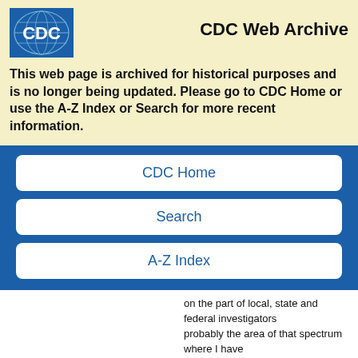[Figure (logo): CDC logo — blue square with white CDC letters and globe/lines graphic]
CDC Web Archive
This web page is archived for historical purposes and is no longer being updated. Please go to CDC Home or use the A-Z Index or Search for more recent information.
CDC Home
Search
A-Z Index
on the part of local, state and federal investigators probably the area of that spectrum where I have at the local and state level.Â Given whatâs h budgets out there.Â We depend on these people data collection and work with us in these investig we could always expand the resources at CDC to more of these better, but we do what we can, an a successfully and intensively investigated outbre